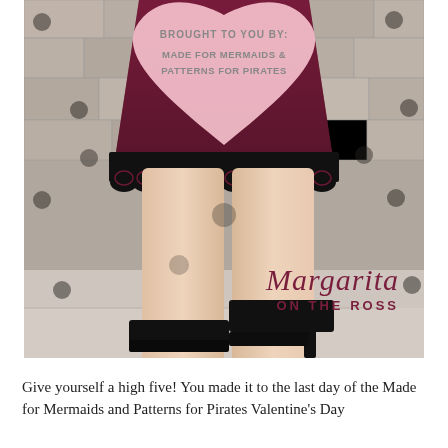[Figure (photo): Fashion photo of a woman from torso down wearing a burgundy/wine colored skirt with black lace hem and black high heels, standing in front of a stone wall. She is holding a pink heart-shaped sign that reads 'BROUGHT TO YOU BY: MADE FOR MERMAIDS & PATTERNS FOR PIRATES'. A script watermark reads 'Margarita ON THE ROSS' in the lower right corner.]
Give yourself a high five! You made it to the last day of the Made for Mermaids and Patterns for Pirates Valentine's Day